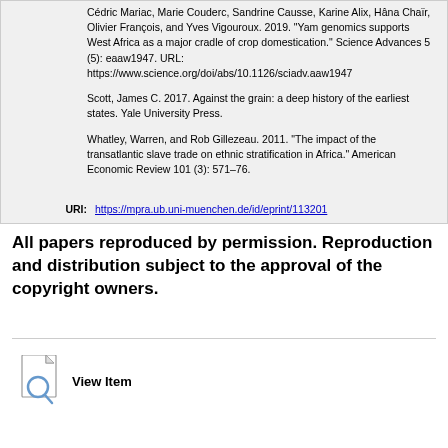Cédric Mariac, Marie Couderc, Sandrine Causse, Karine Alix, Hâna Chaïr, Olivier François, and Yves Vigouroux. 2019. "Yam genomics supports West Africa as a major cradle of crop domestication." Science Advances 5 (5): eaaw1947. URL: https://www.science.org/doi/abs/10.1126/sciadv.aaw1947
Scott, James C. 2017. Against the grain: a deep history of the earliest states. Yale University Press.
Whatley, Warren, and Rob Gillezeau. 2011. "The impact of the transatlantic slave trade on ethnic stratification in Africa." American Economic Review 101 (3): 571–76.
URI: https://mpra.ub.uni-muenchen.de/id/eprint/113201
All papers reproduced by permission. Reproduction and distribution subject to the approval of the copyright owners.
[Figure (illustration): View Item icon with magnifying glass on a document]
View Item